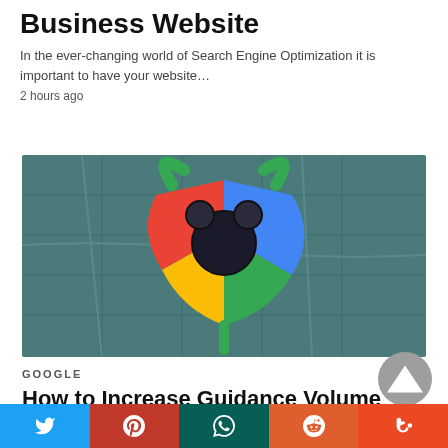Business Website
In the ever-changing world of Search Engine Optimization it is important to have your website…
2 hours ago
[Figure (illustration): Google Maps-style location pin icon composed of Google colors (red, blue, yellow, green) with circles representing a face, overlaid on a teal satellite map background]
GOOGLE
How to Increase Guidance Volume in Google